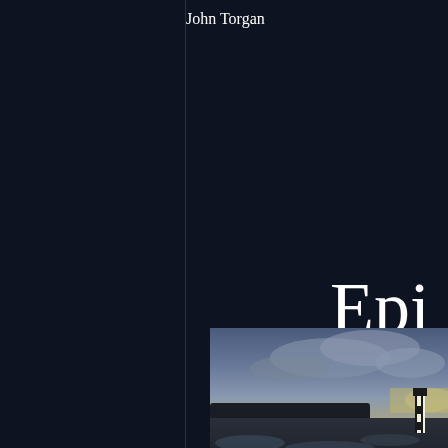John Torgan
Epi
[Figure (photo): Coastal landscape at dusk showing a flat, wet shoreline with puddles reflecting the sky. A silhouetted tree line is visible in the middle ground, and a tall striped lighthouse or marker tower stands on the right. Dramatic cloudy sky with light breaking through on the horizon.]
West Island continues to recover from much worse. Boaters and beach goers a This incident was a small infraction in e Alaska. But this incident is a wake up d environmental Armageddon, the destru crowned jewel of Massachusetts, was i barge containing up to 4 million